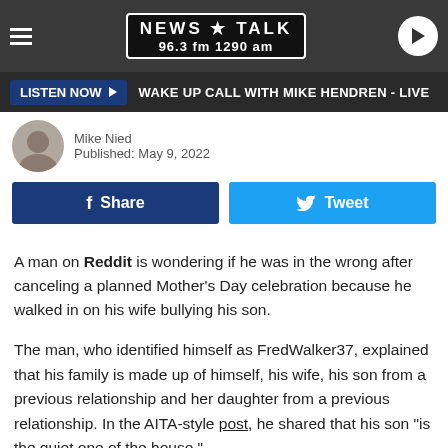[Figure (screenshot): News Talk 96.3 fm 1290 am radio station website header with hamburger menu, logo, and play button]
LISTEN NOW ▶  WAKE UP CALL WITH MIKE HENDREN - LIVE
Mike Nied
Published: May 9, 2022
f Share   Tweet
A man on Reddit is wondering if he was in the wrong after canceling a planned Mother's Day celebration because he walked in on his wife bullying his son.
The man, who identified himself as FredWalker37, explained that his family is made up of himself, his wife, his son from a previous relationship and her daughter from a previous relationship. In the AITA-style post, he shared that his son "is the quiet one of the house."